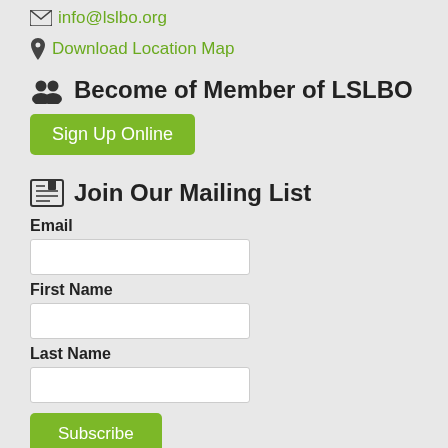✉ info@lslbo.org
📍 Download Location Map
👥 Become of Member of LSLBO
Sign Up Online
📰 Join Our Mailing List
Email
First Name
Last Name
Subscribe
💳 Donations
The Lesser Slave Lake Bird Observatory is a non-profit society